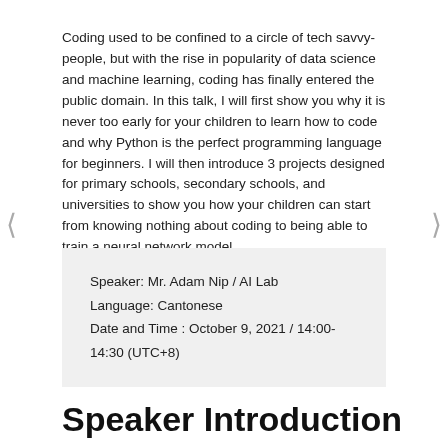Coding used to be confined to a circle of tech savvy-people, but with the rise in popularity of data science and machine learning, coding has finally entered the public domain. In this talk, I will first show you why it is never too early for your children to learn how to code and why Python is the perfect programming language for beginners. I will then introduce 3 projects designed for primary schools, secondary schools, and universities to show you how your children can start from knowing nothing about coding to being able to train a neural network model.
Speaker: Mr. Adam Nip / AI Lab
Language: Cantonese
Date and Time : October 9, 2021 / 14:00-14:30 (UTC+8)
Speaker Introduction